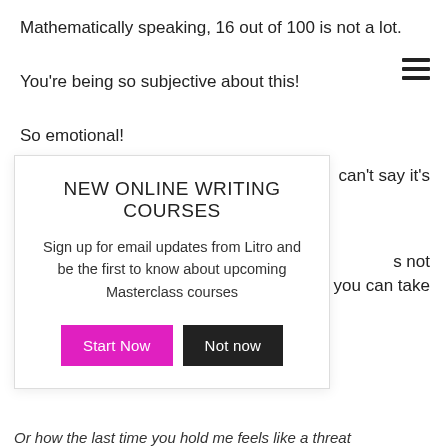Mathematically speaking, 16 out of 100 is not a lot.
You’re being so subjective about this!
So emotional!
can’t say it’s
s not
but you can take
[Figure (other): Modal popup overlay with title 'NEW ONLINE WRITING COURSES', body text 'Sign up for email updates from Litro and be the first to know about upcoming Masterclass courses', and two buttons: 'Start Now' (magenta) and 'Not now' (black).]
Or how the last time you hold me feels like a threat